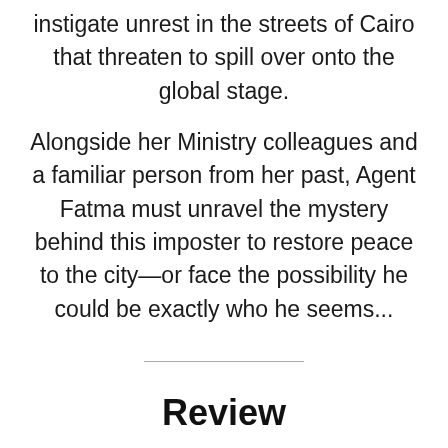instigate unrest in the streets of Cairo that threaten to spill over onto the global stage.
Alongside her Ministry colleagues and a familiar person from her past, Agent Fatma must unravel the mystery behind this imposter to restore peace to the city—or face the possibility he could be exactly who he seems...
Review
An agent of supernatural oddities finds herself